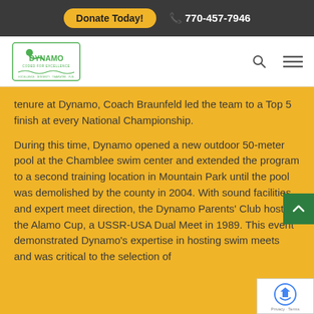Donate Today! | 770-457-7946
[Figure (logo): Dynamo Swim Club logo with green swimmer icon and text 'DYNAMO CODED FOR EXCELLENCE']
tenure at Dynamo, Coach Braunfeld led the team to a Top 5 finish at every National Championship.
During this time, Dynamo opened a new outdoor 50-meter pool at the Chamblee swim center and extended the program to a second training location in Mountain Park until the pool was demolished by the county in 2004. With sound facilities and expert meet direction, the Dynamo Parents' Club hosted the Alamo Cup, a USSR-USA Dual Meet in 1989. This event demonstrated Dynamo's expertise in hosting swim meets and was critical to the selection of